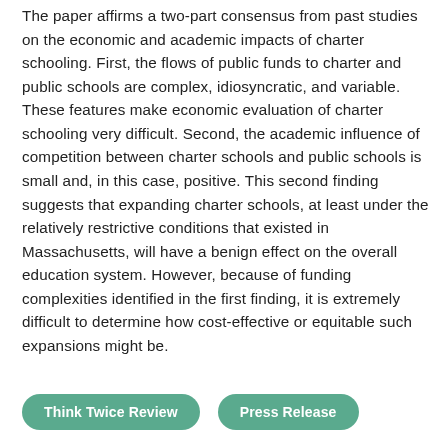The paper affirms a two-part consensus from past studies on the economic and academic impacts of charter schooling. First, the flows of public funds to charter and public schools are complex, idiosyncratic, and variable. These features make economic evaluation of charter schooling very difficult. Second, the academic influence of competition between charter schools and public schools is small and, in this case, positive. This second finding suggests that expanding charter schools, at least under the relatively restrictive conditions that existed in Massachusetts, will have a benign effect on the overall education system. However, because of funding complexities identified in the first finding, it is extremely difficult to determine how cost-effective or equitable such expansions might be.
Think Twice Review
Press Release